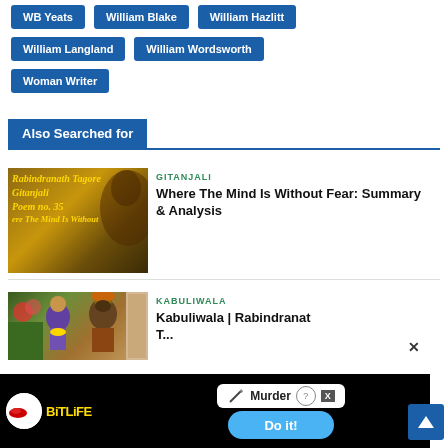WB Yeats
William Blake
William Hazlitt
William Langland
William Wordsworth
Woman Writer
Also Searched for
[Figure (photo): Thumbnail image for Gitanjali Poem no. 35 - Where The Mind Is Without Fear by Rabindranath Tagore]
GITANJALI
Where The Mind Is Without Fear: Summary & Analysis
[Figure (photo): Thumbnail image for Kabuliwala by Rabindranath Tagore - animated illustration]
KABULIWALA
Kabuliwala | Rabindranath Tagore Full Story...
[Figure (infographic): BitLife advertisement banner with Murder Do it! call to action]